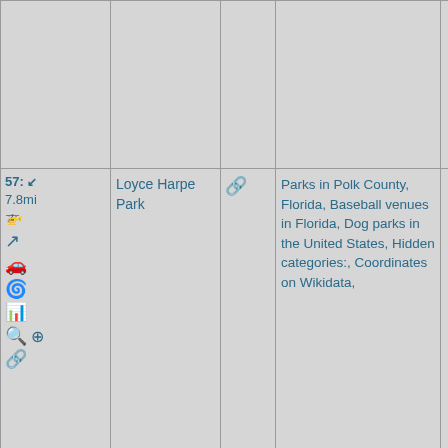| Controls | Name | Link | Categories | Extra |
| --- | --- | --- | --- | --- |
| 57: ↙ 7.8mi [helicopter] [turn] [car] [spiral] [chart] [search] [+] [link] | Loyce Harpe Park | [link] | Parks in Polk County, Florida, Baseball venues in Florida, Dog parks in the United States, Hidden categories:, Coordinates on Wikidata, |  |